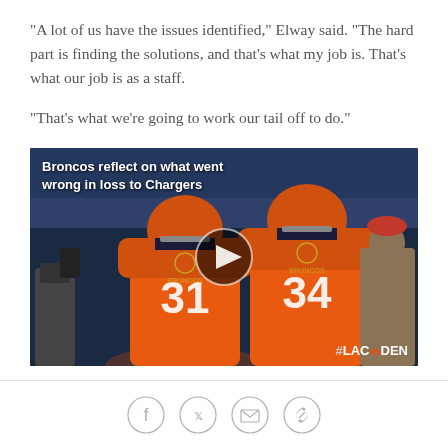"A lot of us have the issues identified," Elway said. "The hard part is finding the solutions, and that's what my job is. That's what our job is as a staff.
"That's what we're going to work our tail off to do."
[Figure (photo): Video thumbnail showing two Denver Broncos players in orange jerseys numbered 31 and 34, with text overlay: 'Broncos reflect on what went wrong in loss to Chargers' and play button in center. #LACvsDEN watermark visible in bottom right.]
[Figure (other): Social sharing icons: Facebook, Twitter, Email, Link]